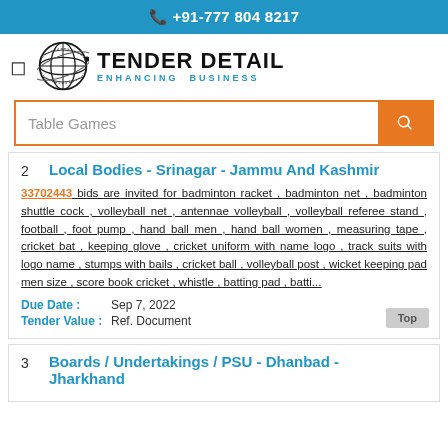+91-777 804 8217
[Figure (logo): Tender Detail globe logo with text TENDER DETAIL ENHANCING BUSINESS]
Table Games (search input)
2 Local Bodies - Srinagar - Jammu And Kashmir
33702443 bids are invited for badminton racket , badminton net , badminton shuttle cock , volleyball net , antennae volleyball , volleyball referee stand , football , foot pump , hand ball men , hand ball women , measuring tape , cricket bat , keeping glove , cricket uniform with name logo , track suits with logo name , stumps with bails , cricket ball , volleyball post , wicket keeping pad men size , score book cricket , whistle , batting pad , batti...
Due Date : Sep 7, 2022
Tender Value : Ref. Document
3 Boards / Undertakings / PSU - Dhanbad - Jharkhand